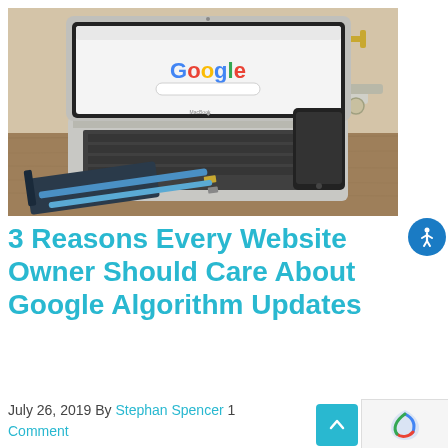[Figure (photo): A MacBook Air laptop open on a wooden desk showing the Google homepage, with a smartphone beside it, a notebook and two pens in the foreground, and a small toy cannon and teal bottle in the background.]
3 Reasons Every Website Owner Should Care About Google Algorithm Updates
July 26, 2019 By Stephan Spencer 1 Comment